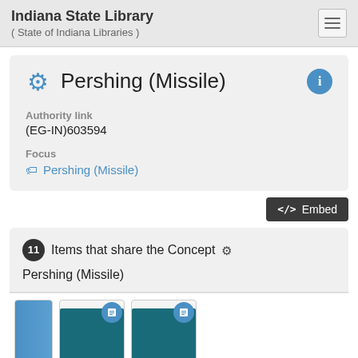Indiana State Library ( State of Indiana Libraries )
Pershing (Missile)
Authority link
(EG-IN)603594
Focus
Pershing (Missile)
</>  Embed
11 Items that share the Concept ⚙ Pershing (Missile)
[Figure (screenshot): Three book thumbnail images partially visible at the bottom of the page]